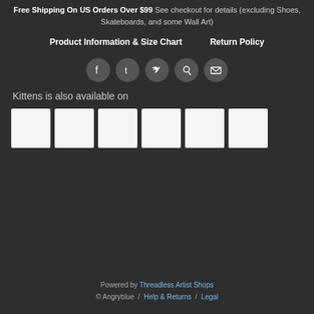Free Shipping On US Orders Over $99 See checkout for details (excluding Shoes, Skateboards, and some Wall Art)
Product Information & Size Chart    Return Policy
[Figure (infographic): Row of 5 social media icon buttons: Facebook, Tumblr, Twitter, Pinterest, Email — circular grey buttons with white icons]
Kittens is also available on
[Figure (other): Six white thumbnail product image boxes in a row]
Powered by Threadless Artist Shops © Angryblue  /  Help & Returns  /  Legal